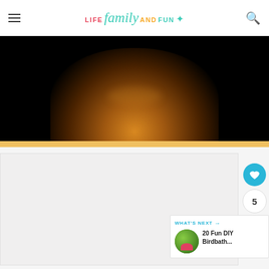LIFE family AND FUN
[Figure (photo): Dark photograph showing a glowing pumpkin or candle-lit object on a dark background]
[Figure (screenshot): Website content area with floating social action buttons (heart/like count 5 and share), and a 'What's Next' panel showing '20 Fun DIY Birdbath...' with a circular thumbnail of a colorful birdbath]